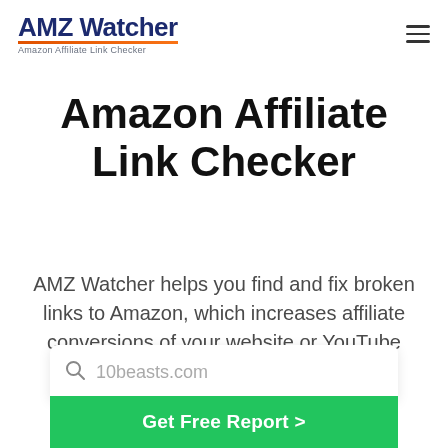AMZ Watcher — Amazon Affiliate Link Checker
Amazon Affiliate Link Checker
AMZ Watcher helps you find and fix broken links to Amazon, which increases affiliate conversions of your website or YouTube channel
10beasts.com
Get Free Report  >